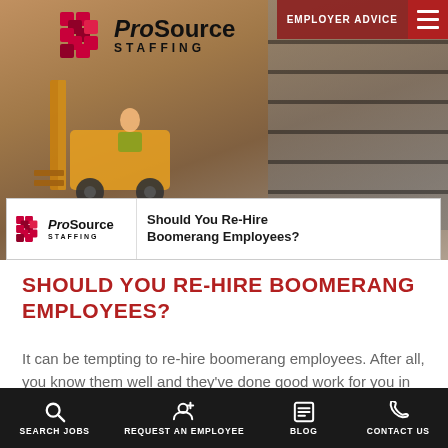[Figure (screenshot): ProSource Staffing website screenshot showing header with logo, employer advice button, hamburger menu, and forklift warehouse background image]
SHOULD YOU RE-HIRE BOOMERANG EMPLOYEES?
It can be tempting to re-hire boomerang employees. After all, you know them well and they've done good work for you in the past. But...
SEARCH JOBS | REQUEST AN EMPLOYEE | BLOG | CONTACT US